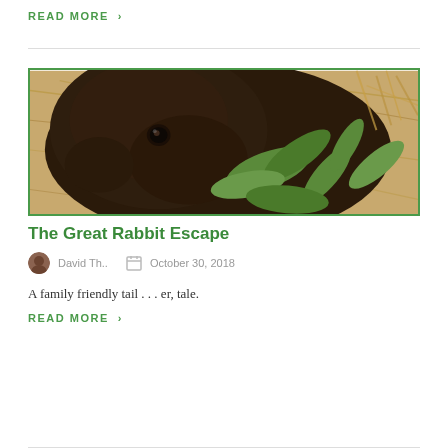READ MORE ›
[Figure (photo): Close-up photo of a dark brown rabbit eating green leaves, resting on hay/straw]
The Great Rabbit Escape
David Th..    October 30, 2018
A family friendly tail . . . er, tale.
READ MORE ›